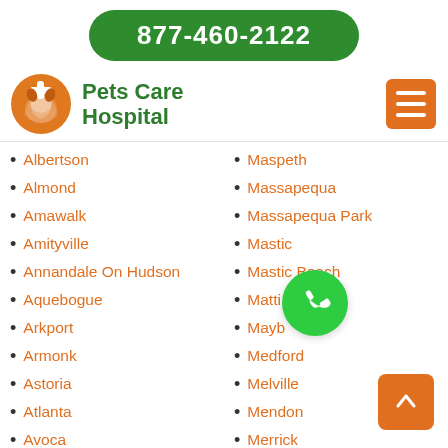877-460-2122
Pets Care Hospital
Albertson
Almond
Amawalk
Amityville
Annandale On Hudson
Aquebogue
Arkport
Armonk
Astoria
Atlanta
Avoca
Avon
Babylon
Maspeth
Massapequa
Massapequa Park
Mastic
Mastic Beach
Mattituck
Maybrook
Medford
Melville
Mendon
Merrick
Middle Island
Middle Village